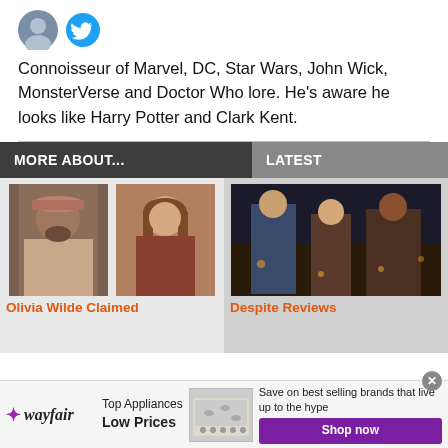[Figure (photo): Circular avatar photo and Twitter bird icon]
Connoisseur of Marvel, DC, Star Wars, John Wick, MonsterVerse and Doctor Who lore. He's aware he looks like Harry Potter and Clark Kent.
MORE ABOUT...
LATEST
[Figure (photo): Two faces: man with beard and cap on left, woman with long brown hair on right]
[Figure (photo): Movie still with three people in a dark scene]
Olivia Wilde Claimed
Despite Reviews
[Figure (other): Wayfair advertisement: Top Appliances Low Prices, Save on best selling brands that live up to the hype, Shop now button]